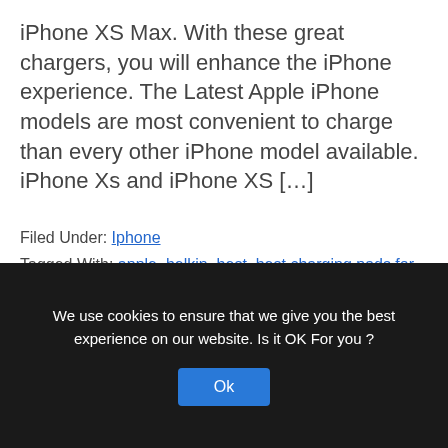iPhone XS Max. With these great chargers, you will enhance the iPhone experience. The Latest Apple iPhone models are most convenient to charge than every other iPhone model available. iPhone Xs and iPhone XS […]
Filed Under: Iphone
Tagged With: apple, belkin, best, best charging pads for iphone, buy, certified, charger, from, how to, should use, use, where, which, wireless charger
We use cookies to ensure that we give you the best experience on our website. Is it OK For you ?